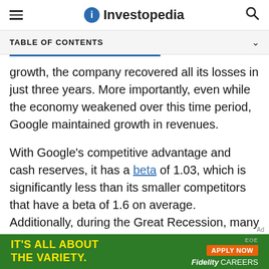Investopedia
TABLE OF CONTENTS
growth, the company recovered all its losses in just three years. More importantly, even while the economy weakened over this time period, Google maintained growth in revenues.
With Google's competitive advantage and cash reserves, it has a beta of 1.03, which is significantly less than its smaller competitors that have a beta of 1.6 on average. Additionally, during the Great Recession, many of its competitors were unable to survive, with others falling to the brink of bankruptcy.
[Figure (other): Fidelity Careers advertisement banner — green background with yellow text 'IT'S ALL ABOUT THE VARIETY.' and orange 'APPLY NOW' button, 'Fidelity CAREERS' branding on right]